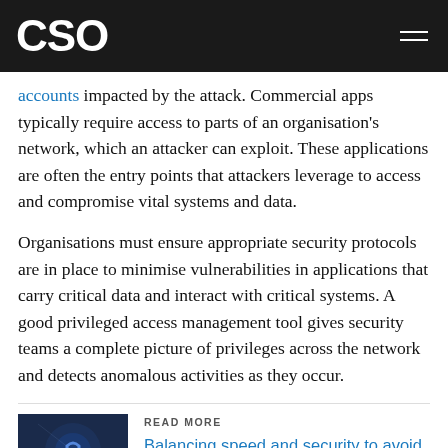CSO
accounts impacted by the attack. Commercial apps typically require access to parts of an organisation's network, which an attacker can exploit. These applications are often the entry points that attackers leverage to access and compromise vital systems and data.
Organisations must ensure appropriate security protocols are in place to minimise vulnerabilities in applications that carry critical data and interact with critical systems. A good privileged access management tool gives security teams a complete picture of privileges across the network and detects anomalous activities as they occur.
READ MORE
[Figure (photo): Dark blue image with a padlock/security icon]
Balancing speed and security to avoid technical debt